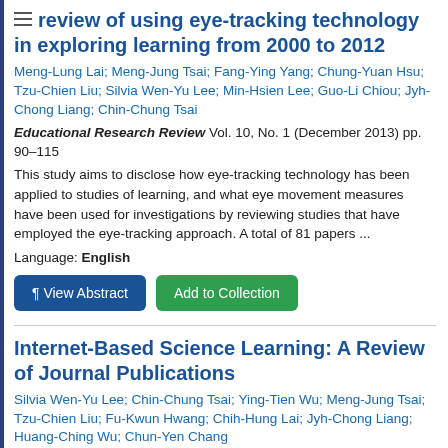review of using eye-tracking technology in exploring learning from 2000 to 2012
Meng-Lung Lai; Meng-Jung Tsai; Fang-Ying Yang; Chung-Yuan Hsu; Tzu-Chien Liu; Silvia Wen-Yu Lee; Min-Hsien Lee; Guo-Li Chiou; Jyh-Chong Liang; Chin-Chung Tsai
Educational Research Review Vol. 10, No. 1 (December 2013) pp. 90–115
This study aims to disclose how eye-tracking technology has been applied to studies of learning, and what eye movement measures have been used for investigations by reviewing studies that have employed the eye-tracking approach. A total of 81 papers ...
Language: English
Internet-Based Science Learning: A Review of Journal Publications
Silvia Wen-Yu Lee; Chin-Chung Tsai; Ying-Tien Wu; Meng-Jung Tsai; Tzu-Chien Liu; Fu-Kwun Hwang; Chih-Hung Lai; Jyh-Chong Liang; Huang-Ching Wu; Chun-Yen Chang
International Journal of Science Education Vol. 33, No. 14